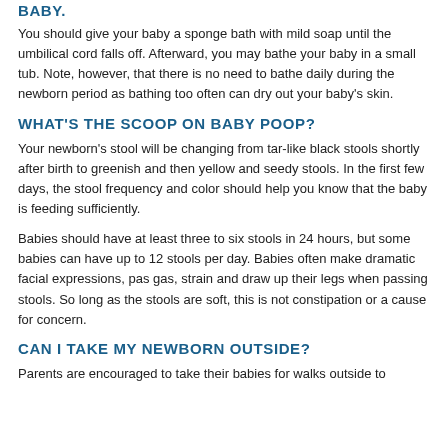BABY.
You should give your baby a sponge bath with mild soap until the umbilical cord falls off. Afterward, you may bathe your baby in a small tub. Note, however, that there is no need to bathe daily during the newborn period as bathing too often can dry out your baby’s skin.
WHAT'S THE SCOOP ON BABY POOP?
Your newborn’s stool will be changing from tar-like black stools shortly after birth to greenish and then yellow and seedy stools. In the first few days, the stool frequency and color should help you know that the baby is feeding sufficiently.
Babies should have at least three to six stools in 24 hours, but some babies can have up to 12 stools per day. Babies often make dramatic facial expressions, pas gas, strain and draw up their legs when passing stools. So long as the stools are soft, this is not constipation or a cause for concern.
CAN I TAKE MY NEWBORN OUTSIDE?
Parents are encouraged to take their babies for walks outside to